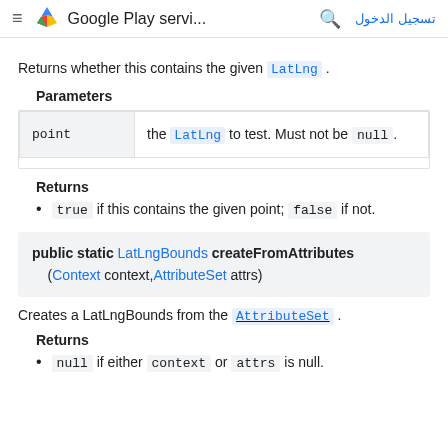Google Play servi... | تسجيل الدخول
Returns whether this contains the given LatLng.
Parameters
| point | the LatLng to test. Must not be null. |
| --- | --- |
Returns
true if this contains the given point; false if not.
public static LatLngBounds createFromAttributes (Context context, AttributeSet attrs)
Creates a LatLngBounds from the AttributeSet.
Returns
null if either context or attrs is null.